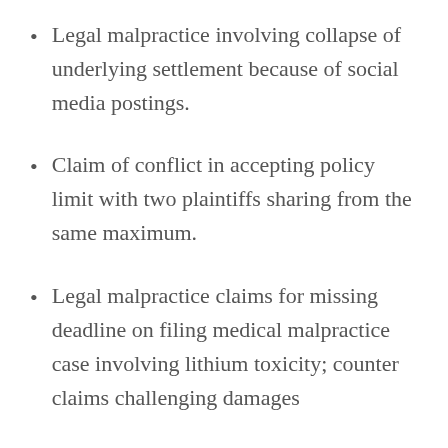Legal malpractice involving collapse of underlying settlement because of social media postings.
Claim of conflict in accepting policy limit with two plaintiffs sharing from the same maximum.
Legal malpractice claims for missing deadline on filing medical malpractice case involving lithium toxicity; counter claims challenging damages
Client suit for legal malpractice in